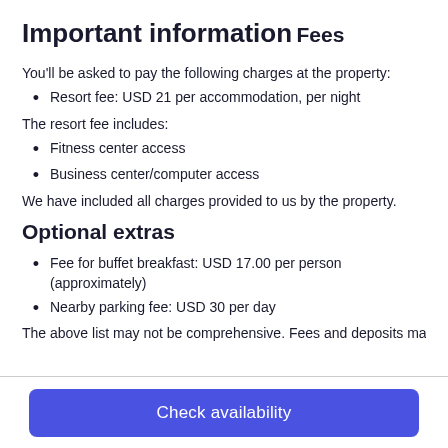Important information
Fees
You'll be asked to pay the following charges at the property:
Resort fee: USD 21 per accommodation, per night
The resort fee includes:
Fitness center access
Business center/computer access
We have included all charges provided to us by the property.
Optional extras
Fee for buffet breakfast: USD 17.00 per person (approximately)
Nearby parking fee: USD 30 per day
The above list may not be comprehensive. Fees and deposits may
[Figure (other): Check availability button]